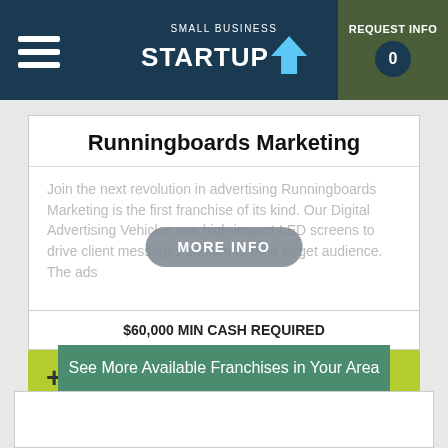SMALL BUSINESS STARTUP | REQUEST INFO 0
Runningboards Marketing
Join the next revolution in advertising Runningboards Marketing is the first franchise of its kind. Our Digital Advertising Vehicles use high-impact LED screens to drive client messages straight to their target audience. The ads
MORE INFO
$60,000 MIN CASH REQUIRED
+ Submit Info Request
See More Available Franchises in Your Area